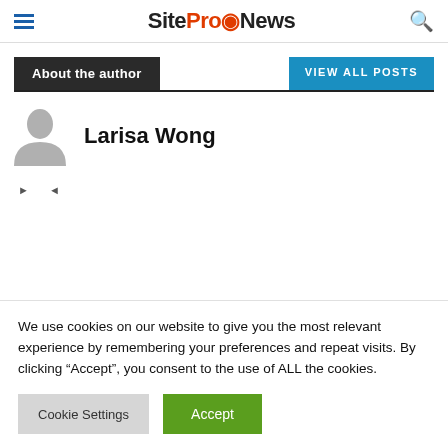SiteProNews
About the author
VIEW ALL POSTS
Larisa Wong
[Figure (illustration): Generic user avatar placeholder (gray silhouette)]
We use cookies on our website to give you the most relevant experience by remembering your preferences and repeat visits. By clicking “Accept”, you consent to the use of ALL the cookies.
Cookie Settings   Accept